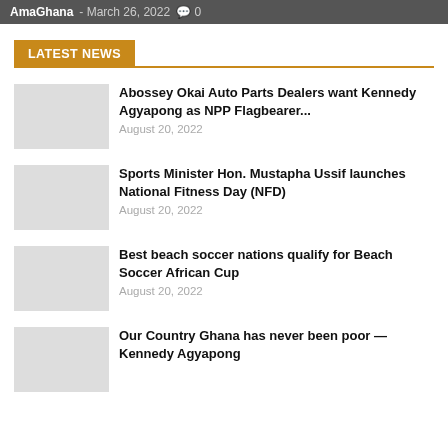AmaGhana - March 26, 2022  0
LATEST NEWS
Abossey Okai Auto Parts Dealers want Kennedy Agyapong as NPP Flagbearer... August 20, 2022
Sports Minister Hon. Mustapha Ussif launches National Fitness Day (NFD) August 20, 2022
Best beach soccer nations qualify for Beach Soccer African Cup August 20, 2022
Our Country Ghana has never been poor —Kennedy Agyapong